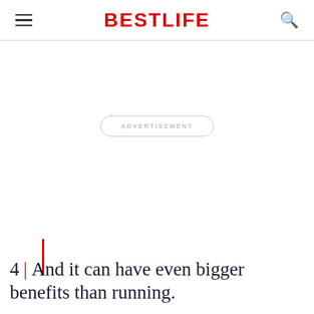BestLife
[Figure (other): Advertisement placeholder box with rounded border and ADVERTISEMENT text label]
4 | And it can have even bigger benefits than running.